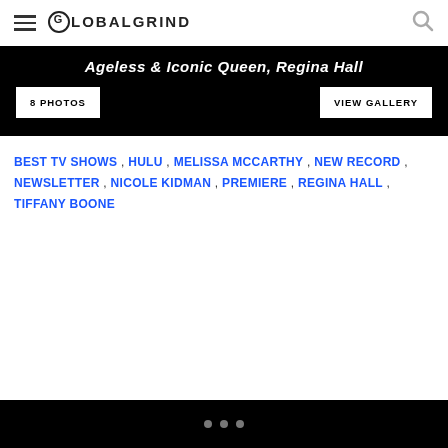GLOBALGRIND
[Figure (screenshot): Black gallery banner with italic bold title 'Ageless & Iconic Queen, Regina Hall', an '8 PHOTOS' button on the left and 'VIEW GALLERY' button on the right]
BEST TV SHOWS , HULU , MELISSA MCCARTHY , NEW RECORD , NEWSLETTER , NICOLE KIDMAN , PREMIERE , REGINA HALL , TIFFANY BOONE
• • •